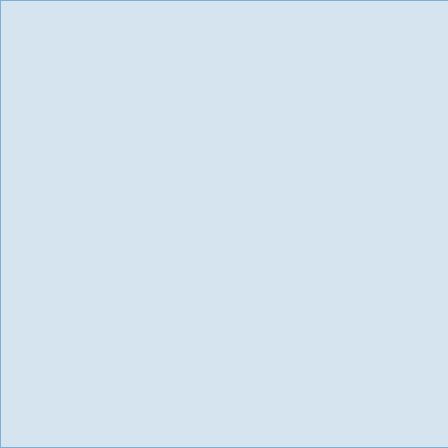theoretical framework of Theor structural equation modeling s counseling, where the associa perceived stigma of close othe speed) and intention to seek c attitudes, subjective norms, pe participants reported preferring preferred some type of online t Internet-based treatment, or ur treatments may have the poten traditional in-person treatment.
Digital Object Identifier (DO
https://doi.org/10.13023/etd.20
Funding Information
2020
James S. Brown Graduate Stu
University of Kentucky's Appal
2020
Graduate Student Research As
University of Kentucky's Cente
Recommended Citation
Hollan, Jade. "APPALACHIANS